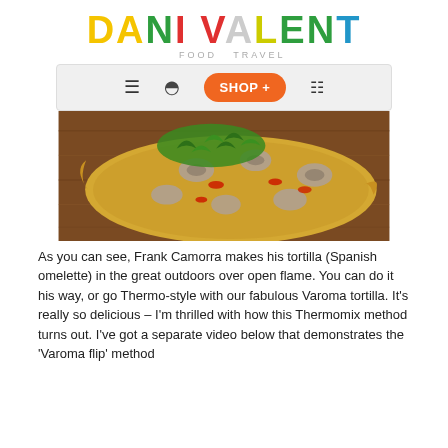DANI VALENT
[Figure (photo): A Spanish tortilla (omelette) topped with mushrooms, red peppers, and fresh rocket/arugula, served on a wooden board outdoors.]
As you can see, Frank Camorra makes his tortilla (Spanish omelette) in the great outdoors over open flame. You can do it his way, or go Thermo-style with our fabulous Varoma tortilla. It’s really so delicious – I’m thrilled with how this Thermomix method turns out. I’ve got a separate video below that demonstrates the ‘Varoma flip’ method